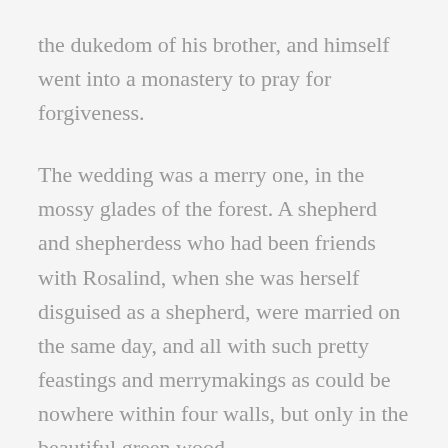the dukedom of his brother, and himself went into a monastery to pray for forgiveness.
The wedding was a merry one, in the mossy glades of the forest. A shepherd and shepherdess who had been friends with Rosalind, when she was herself disguised as a shepherd, were married on the same day, and all with such pretty feastings and merrymakings as could be nowhere within four walls, but only in the beautiful green wood.